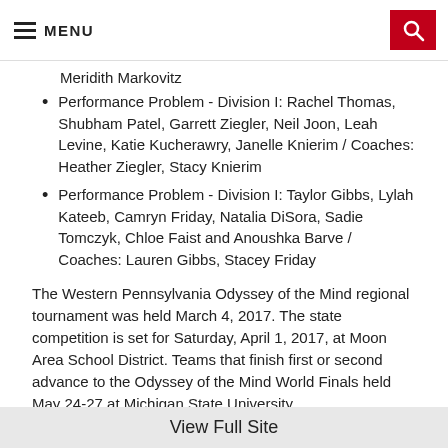MENU
Meridith Markovitz
Performance Problem - Division I: Rachel Thomas, Shubham Patel, Garrett Ziegler, Neil Joon, Leah Levine, Katie Kucherawry, Janelle Knierim / Coaches: Heather Ziegler, Stacy Knierim
Performance Problem - Division I: Taylor Gibbs, Lylah Kateeb, Camryn Friday, Natalia DiSora, Sadie Tomczyk, Chloe Faist and Anoushka Barve / Coaches: Lauren Gibbs, Stacey Friday
The Western Pennsylvania Odyssey of the Mind regional tournament was held March 4, 2017. The state competition is set for Saturday, April 1, 2017, at Moon Area School District. Teams that finish first or second advance to the Odyssey of the Mind World Finals held May 24-27 at Michigan State University.
According to its website, “Odyssey of the Mind is an international creative problem-solving program for K-12 and college students. Students learn the value of
View Full Site